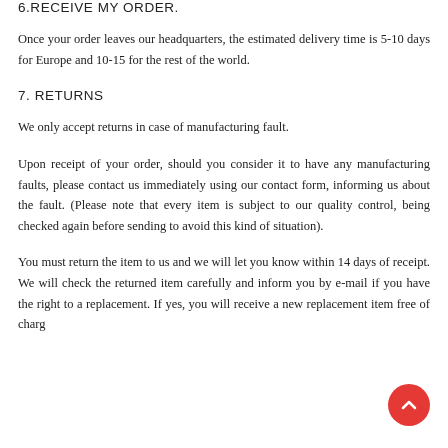6.RECEIVE MY ORDER.
Once your order leaves our headquarters, the estimated delivery time is 5-10 days for Europe and 10-15 for the rest of the world.
7. RETURNS
We only accept returns in case of manufacturing fault.
Upon receipt of your order, should you consider it to have any manufacturing faults, please contact us immediately using our contact form, informing us about the fault. (Please note that every item is subject to our quality control, being checked again before sending to avoid this kind of situation).
You must return the item to us and we will let you know within 14 days of receipt. We will check the returned item carefully and inform you by e-mail if you have the right to a replacement. If yes, you will receive a new replacement item free of charge. You will only receive a refund in the event that the faulty item is out of stock.